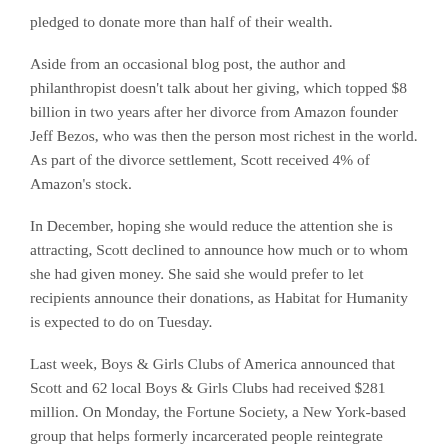pledged to donate more than half of their wealth.
Aside from an occasional blog post, the author and philanthropist doesn't talk about her giving, which topped $8 billion in two years after her divorce from Amazon founder Jeff Bezos, who was then the person most richest in the world. As part of the divorce settlement, Scott received 4% of Amazon's stock.
In December, hoping she would reduce the attention she is attracting, Scott declined to announce how much or to whom she had given money. She said she would prefer to let recipients announce their donations, as Habitat for Humanity is expected to do on Tuesday.
Last week, Boys & Girls Clubs of America announced that Scott and 62 local Boys & Girls Clubs had received $281 million. On Monday, the Fortune Society, a New York-based group that helps formerly incarcerated people reintegrate